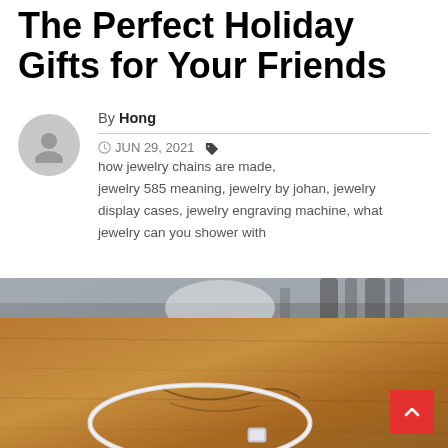The Perfect Holiday Gifts for Your Friends
By Hong  |  JUN 29, 2021  |  how jewelry chains are made, jewelry 585 meaning, jewelry by johan, jewelry display cases, jewelry engraving machine, what jewelry can you shower with
[Figure (photo): A silver bracelet/bangle resting on a wooden surface with dark blurred background elements]